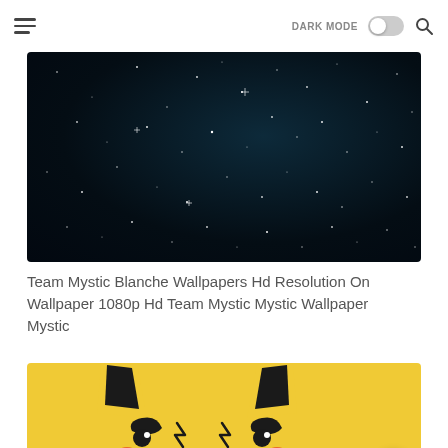DARK MODE [toggle] [search]
[Figure (photo): Dark starry night sky with scattered white stars on a deep navy/black background]
Team Mystic Blanche Wallpapers Hd Resolution On Wallpaper 1080p Hd Team Mystic Mystic Wallpaper Mystic
[Figure (illustration): Pikachu cartoon illustration on a yellow background, showing the face and ears with black markings]